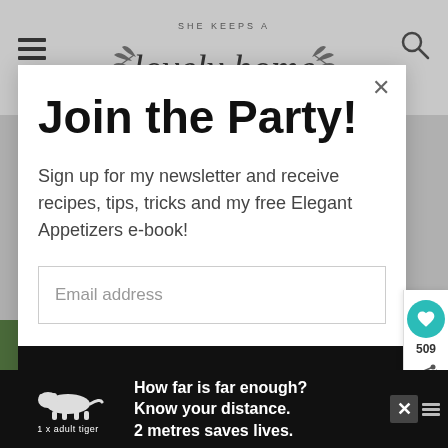SHE KEEPS A lovely home
Join the Party!
Sign up for my newsletter and receive recipes, tips, tricks and my free Elegant Appetizers e-book!
Email address
Subscribe
509
[Figure (screenshot): Bottom advertisement bar with tiger illustration and text: How far is far enough? Know your distance. 2 metres saves lives. 1 x adult tiger]